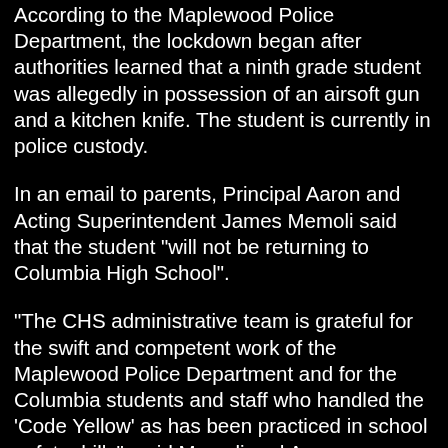According to the Maplewood Police Department, the lockdown began after authorities learned that a ninth grade student was allegedly in possession of an airsoft gun and a kitchen knife. The student is currently in police custody.
In an email to parents, Principal Aaron and Acting Superintendent James Memoli said that the student "will not be returning to Columbia High School".
"The CHS administrative team is grateful for the swift and competent work of the Maplewood Police Department and for the Columbia students and staff who handled the 'Code Yellow' as has been practiced in school safety drills", said Memoli and Aaron.
Police officers remained on the streets surrounding the high school following the release of students.
Principal Aaron made an announcement to students